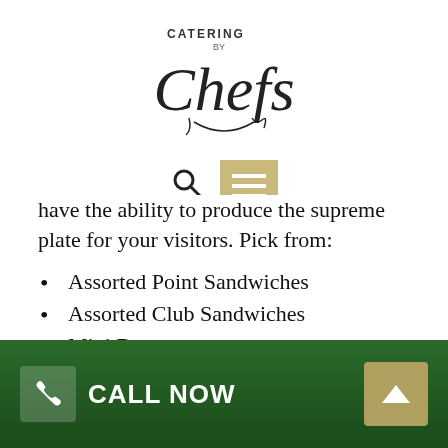[Figure (logo): Catering by Chefs logo with script lettering]
[Figure (screenshot): Navigation icons: search magnifying glass and hamburger menu button with tan/gold background]
have the ability to produce the supreme plate for your visitors. Pick from:
Assorted Point Sandwiches
Assorted Club Sandwiches
Mini Baguettes
Jumbo Wrap Cross Sections
Mini Snack Size Bagels
Each of our sandwich platters for Bulla events can be personalized with your option of fillings. Our chefs
CALL NOW